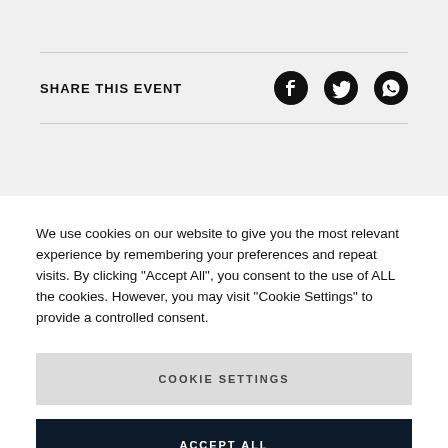SHARE THIS EVENT
[Figure (illustration): Social share icons: Facebook, Twitter, WhatsApp]
We use cookies on our website to give you the most relevant experience by remembering your preferences and repeat visits. By clicking "Accept All", you consent to the use of ALL the cookies. However, you may visit "Cookie Settings" to provide a controlled consent.
COOKIE SETTINGS
ACCEPT ALL